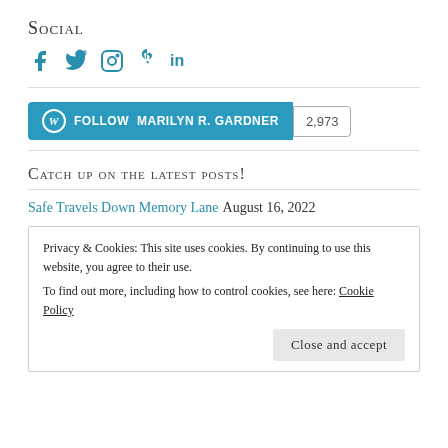Social
[Figure (other): Social media icons: Facebook, Twitter, Instagram, Pinterest, LinkedIn in teal/blue color]
[Figure (other): Follow MARILYN R. GARDNER WordPress follow button with follower count 2,973]
Catch up on the latest posts!
Safe Travels Down Memory Lane August 16, 2022
Privacy & Cookies: This site uses cookies. By continuing to use this website, you agree to their use. To find out more, including how to control cookies, see here: Cookie Policy
Close and accept